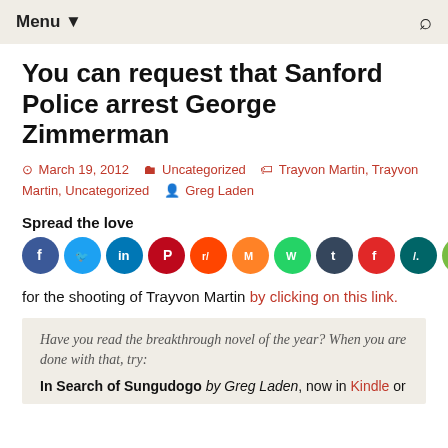Menu ▼
You can request that Sanford Police arrest George Zimmerman
March 19, 2012  Uncategorized  Trayvon Martin, Trayvon Martin, Uncategorized  Greg Laden
Spread the love
[Figure (infographic): Row of social media share icons: Facebook (blue), Twitter (light blue), LinkedIn (dark blue), Pinterest (red), Reddit (orange-red), Mix (orange), WhatsApp (green), Tumblr (dark navy), Flipboard (red), Digg (dark teal), Evernote (green), Badoo (red), Email (dark olive)]
for the shooting of Trayvon Martin by clicking on this link.
Have you read the breakthrough novel of the year? When you are done with that, try:
In Search of Sungudogo by Greg Laden, now in Kindle or